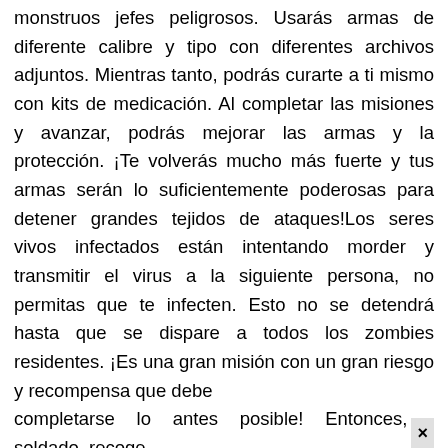monstruos jefes peligrosos. Usarás armas de diferente calibre y tipo con diferentes archivos adjuntos. Mientras tanto, podrás curarte a ti mismo con kits de medicación. Al completar las misiones y avanzar, podrás mejorar las armas y la protección. ¡Te volverás mucho más fuerte y tus armas serán lo suficientemente poderosas para detener grandes tejidos de ataques!Los seres vivos infectados están intentando morder y transmitir el virus a la siguiente persona, no permitas que te infecten. Esto no se detendrá hasta que se dispare a todos los zombies residentes. ¡Es una gran misión con un gran riesgo y recompensa que debe completarse lo antes posible! Entonces, soldado, recoge ×